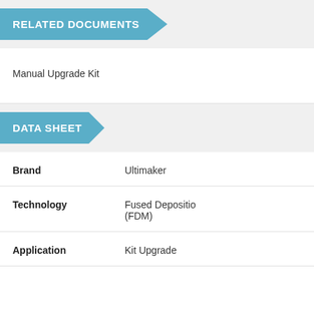RELATED DOCUMENTS
Manual Upgrade Kit
DATA SHEET
|  |  |
| --- | --- |
| Brand | Ultimaker |
| Technology | Fused Deposition (FDM) |
| Application | Kit Upgrade |